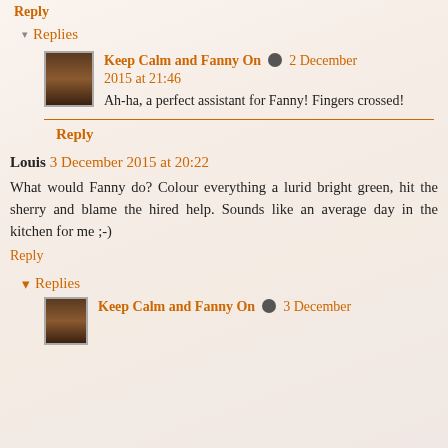Reply
▾ Replies
Keep Calm and Fanny On [edit] 2 December 2015 at 21:46
Ah-ha, a perfect assistant for Fanny! Fingers crossed!
Reply
Louis 3 December 2015 at 20:22
What would Fanny do? Colour everything a lurid bright green, hit the sherry and blame the hired help. Sounds like an average day in the kitchen for me ;-)
Reply
▾ Replies
Keep Calm and Fanny On [edit] 3 December